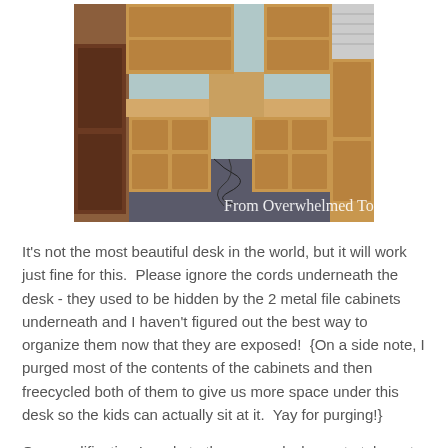[Figure (photo): A large L-shaped or corner wooden desk with shelving units on both sides and upper cabinets. Cords are visible on the floor underneath. The image has a watermark reading 'From Overwhelmed To Organized'.]
It's not the most beautiful desk in the world, but it will work just fine for this.  Please ignore the cords underneath the desk - they used to be hidden by the 2 metal file cabinets underneath and I haven't figured out the best way to organize them now that they are exposed!  {On a side note, I purged most of the contents of the cabinets and then freecycled both of them to give us more space under this desk so the kids can actually sit at it.  Yay for purging!}
One modification I made to the corner desk was to take out